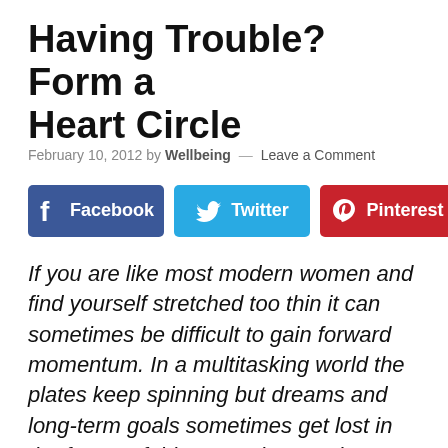Having Trouble? Form a Heart Circle
February 10, 2012 by Wellbeing — Leave a Comment
[Figure (infographic): Social sharing buttons: Facebook (blue), Twitter (light blue), Pinterest (red)]
If you are like most modern women and find yourself stretched too thin it can sometimes be difficult to gain forward momentum. In a multitasking world the plates keep spinning but dreams and long-term goals sometimes get lost in the frenzy. If this scenario sounds